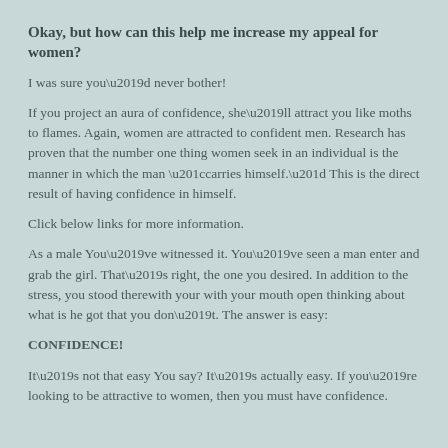Okay, but how can this help me increase my appeal for women?
I was sure you’d never bother!
If you project an aura of confidence, she’ll attract you like moths to flames. Again, women are attracted to confident men. Research has proven that the number one thing women seek in an individual is the manner in which the man “carries himself.” This is the direct result of having confidence in himself.
Click below links for more information.
As a male You’ve witnessed it. You’ve seen a man enter and grab the girl. That’s right, the one you desired. In addition to the stress, you stood therewith your with your mouth open thinking about what is he got that you don’t. The answer is easy:
CONFIDENCE!
It’s not that easy You say? It’s actually easy. If you’re looking to be attractive to women, then you must have confidence.